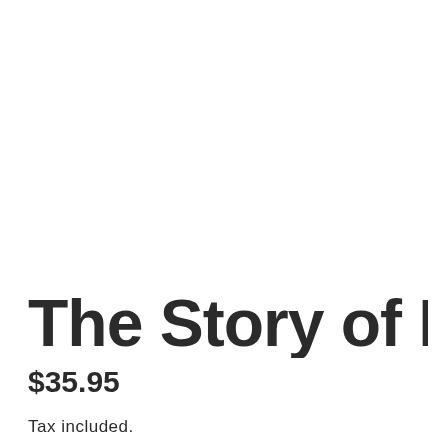The Story of My Day
$35.95
Tax included.